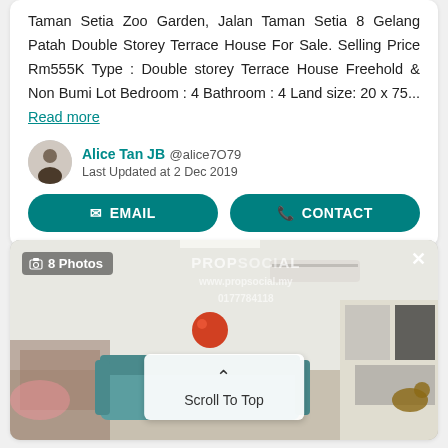Taman Setia Zoo Garden, Jalan Taman Setia 8 Gelang Patah Double Storey Terrace House For Sale. Selling Price Rm555K Type : Double storey Terrace House Freehold & Non Bumi Lot Bedroom : 4 Bathroom : 4 Land size: 20 x 75... Read more
Alice Tan JB @alice7O79 Last Updated at 2 Dec 2019
EMAIL
CONTACT
[Figure (photo): Interior photo of a double storey terrace house living room/dining area. Shows air conditioning unit, teal sofa, decorative red balloon, kitchen visible in background. PropSocial watermark and phone number overlay. '8 Photos' badge in top left. 'Scroll To Top' button overlay in center-bottom.]